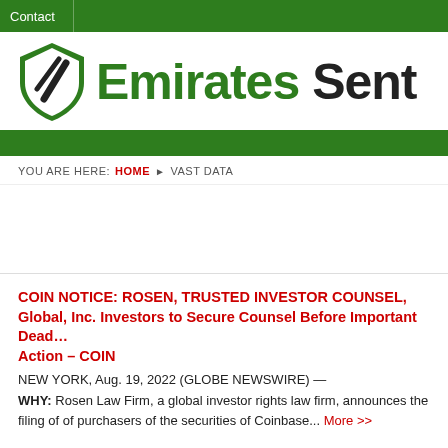Contact
[Figure (logo): Emirates Sentinel logo with green shield icon and site name 'Emirates Sent' visible]
YOU ARE HERE: HOME ▶ VAST DATA
COIN NOTICE: ROSEN, TRUSTED INVESTOR COUNSEL, Global, Inc. Investors to Secure Counsel Before Important Deadline in Securities Class Action – COIN
NEW YORK, Aug. 19, 2022 (GLOBE NEWSWIRE) —
WHY: Rosen Law Firm, a global investor rights law firm, announces the filing of of purchasers of the securities of Coinbase... More >>